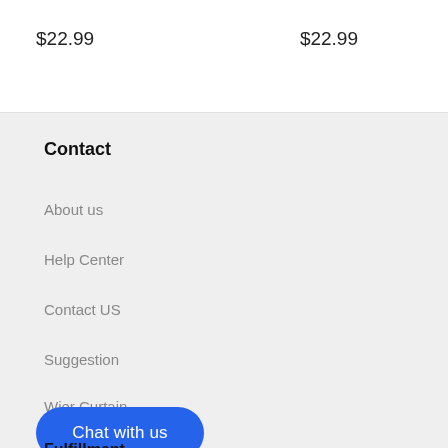$22.99
$22.99
Contact
About us
Help Center
Contact US
Suggestion
Wi...er Curtain
Chat with us
Fulfillment